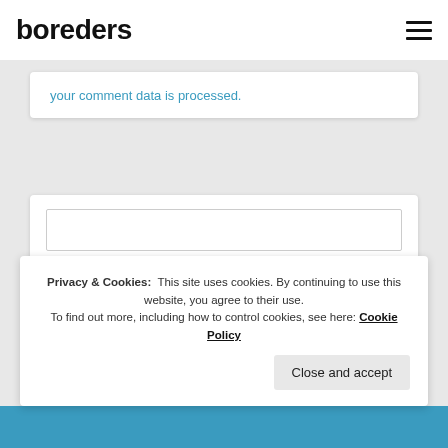boreders
your comment data is processed.
[Figure (screenshot): Search input box with a teal Search button below it]
Privacy & Cookies:  This site uses cookies. By continuing to use this website, you agree to their use.
To find out more, including how to control cookies, see here: Cookie Policy
Close and accept